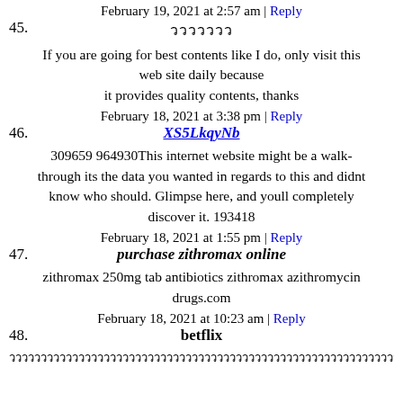February 19, 2021 at 2:57 am | Reply
45. ววววววว
If you are going for best contents like I do, only visit this web site daily because it provides quality contents, thanks
February 18, 2021 at 3:38 pm | Reply
46. XS5LkqyNb
309659 964930This internet website might be a walk-through its the data you wanted in regards to this and didnt know who should. Glimpse here, and youll completely discover it. 193418
February 18, 2021 at 1:55 pm | Reply
47. purchase zithromax online
zithromax 250mg tab antibiotics zithromax azithromycin drugs.com
February 18, 2021 at 10:23 am | Reply
48. betflix
วววววววววววววววววววววววววววววววววววววววววววววววววววววววววววววววว